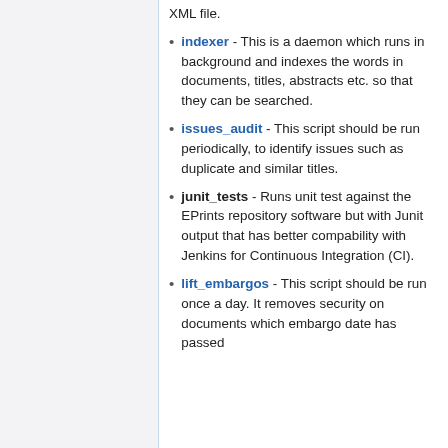XML file.
indexer - This is a daemon which runs in background and indexes the words in documents, titles, abstracts etc. so that they can be searched.
issues_audit - This script should be run periodically, to identify issues such as duplicate and similar titles.
junit_tests - Runs unit test against the EPrints repository software but with Junit output that has better compability with Jenkins for Continuous Integration (CI).
lift_embargos - This script should be run once a day. It removes security on documents which embargo date has passed